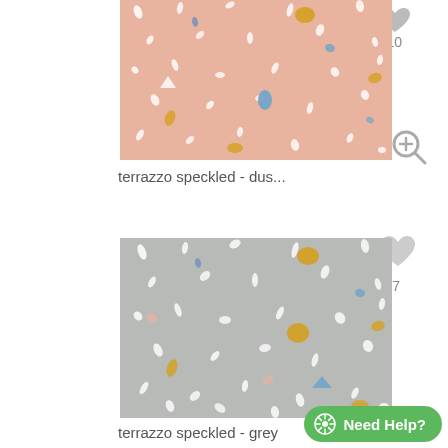[Figure (photo): Terrazzo speckled dusty pink pattern swatch — pink background with scattered white, blue, and golden speckles and fragments]
10
terrazzo speckled - dus...
[Figure (photo): Terrazzo speckled grey pattern swatch — grey background with white, orange/golden, blue and pink speckles and fragments]
7
terrazzo speckled - grey